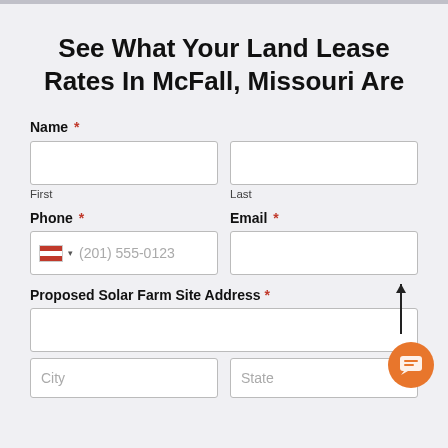See What Your Land Lease Rates In McFall, Missouri Are
Name *
First
Last
Phone *
Email *
Proposed Solar Farm Site Address *
City
State